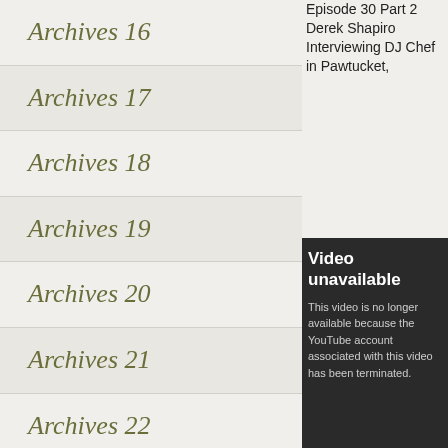Archives 16
Archives 17
Archives 18
Archives 19
Archives 20
Archives 21
Archives 22
Archives 23
Episode 30 Part 2 Derek Shapiro Interviewing DJ Chef in Pawtucket,
[Figure (screenshot): Video unavailable notice on dark background: 'Video unavailable. This video is no longer available because the YouTube account associated with this video has been terminated.']